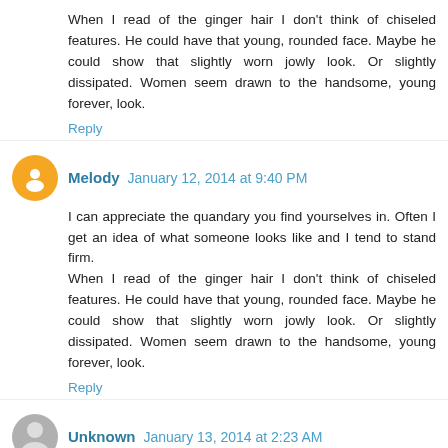When I read of the ginger hair I don't think of chiseled features. He could have that young, rounded face. Maybe he could show that slightly worn jowly look. Or slightly dissipated. Women seem drawn to the handsome, young forever, look.
Reply
Melody January 12, 2014 at 9:40 PM
I can appreciate the quandary you find yourselves in. Often I get an idea of what someone looks like and I tend to stand firm.
When I read of the ginger hair I don't think of chiseled features. He could have that young, rounded face. Maybe he could show that slightly worn jowly look. Or slightly dissipated. Women seem drawn to the handsome, young forever, look.
Reply
Unknown January 13, 2014 at 2:23 AM